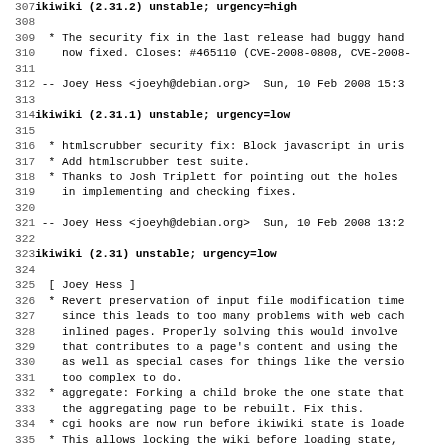Debian changelog source code lines 307-339, showing ikiwiki package changelog entries
307: ikiwiki (2.31.2) unstable; urgency=high
308: (blank)
309:  * The security fix in the last release had buggy hand
310:   now fixed. Closes: #465110 (CVE-2008-0808, CVE-2008-
311: (blank)
312:  -- Joey Hess <joeyh@debian.org>  Sun, 10 Feb 2008 15:3
313: (blank)
314: ikiwiki (2.31.1) unstable; urgency=low
315: (blank)
316:  * htmlscrubber security fix: Block javascript in uris
317:  * Add htmlscrubber test suite.
318:  * Thanks to Josh Triplett for pointing out the holes
319:    in implementing and checking fixes.
320: (blank)
321:  -- Joey Hess <joeyh@debian.org>  Sun, 10 Feb 2008 13:2
322: (blank)
323: ikiwiki (2.31) unstable; urgency=low
324: (blank)
325:   [ Joey Hess ]
326:  * Revert preservation of input file modification time
327:    since this leads to too many problems with web cach
328:    inlined pages. Properly solving this would involve
329:    that contributes to a page's content and using the
330:    as well as special cases for things like the versio
331:    too complex to do.
332:  * aggregate: Forking a child broke the one state that
333:    the aggregating page to be rebuilt. Fix this.
334:  * cgi hooks are now run before ikiwiki state is loade
335:  * This allows locking the wiki before loading state,
336:    tricky locking code when saving a web edit.
337:  * poll: This plugin turns out to have edited pages w/
338:    Oops. Convert it from a cgi to a sessioncgi hook, w
339:    much better.